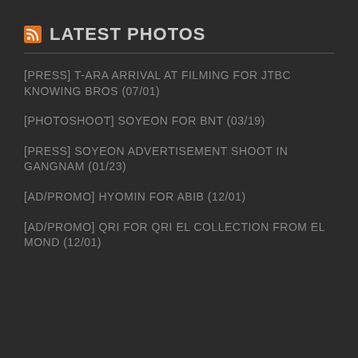LATEST PHOTOS
[PRESS] T-ARA ARRIVAL AT FILMING FOR JTBC KNOWING BROS (07/01)
[PHOTOSHOOT] SOYEON FOR BNT (03/19)
[PRESS] SOYEON ADVERTISEMENT SHOOT IN GANGNAM (01/23)
[AD/PROMO] HYOMIN FOR ABIB (12/01)
[AD/PROMO] QRI FOR QRI EL COLLECTION FROM EL MOND (12/01)